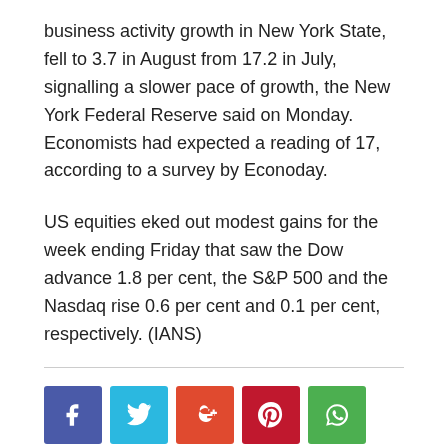business activity growth in New York State, fell to 3.7 in August from 17.2 in July, signalling a slower pace of growth, the New York Federal Reserve said on Monday. Economists had expected a reading of 17, according to a survey by Econoday.
US equities eked out modest gains for the week ending Friday that saw the Dow advance 1.8 per cent, the S&P 500 and the Nasdaq rise 0.6 per cent and 0.1 per cent, respectively. (IANS)
[Figure (infographic): Social media share buttons: Facebook (blue-purple), Twitter (light blue), Google+ (orange-red), Pinterest (dark red), WhatsApp (green)]